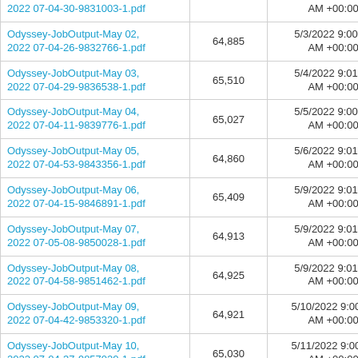| 2022 07-04-30-9831003-1.pdf |  | AM +00:00 |
| Odyssey-JobOutput-May 02, 2022 07-04-26-9832766-1.pdf | 64,885 | 5/3/2022 9:00:52 AM +00:00 |
| Odyssey-JobOutput-May 03, 2022 07-04-29-9836538-1.pdf | 65,510 | 5/4/2022 9:01:10 AM +00:00 |
| Odyssey-JobOutput-May 04, 2022 07-04-11-9839776-1.pdf | 65,027 | 5/5/2022 9:00:42 AM +00:00 |
| Odyssey-JobOutput-May 05, 2022 07-04-53-9843356-1.pdf | 64,860 | 5/6/2022 9:01:26 AM +00:00 |
| Odyssey-JobOutput-May 06, 2022 07-04-15-9846891-1.pdf | 65,409 | 5/9/2022 9:01:04 AM +00:00 |
| Odyssey-JobOutput-May 07, 2022 07-05-08-9850028-1.pdf | 64,913 | 5/9/2022 9:01:05 AM +00:00 |
| Odyssey-JobOutput-May 08, 2022 07-04-58-9851462-1.pdf | 64,925 | 5/9/2022 9:01:06 AM +00:00 |
| Odyssey-JobOutput-May 09, 2022 07-04-42-9853320-1.pdf | 64,921 | 5/10/2022 9:00:51 AM +00:00 |
| Odyssey-JobOutput-May 10, 2022 07-04-37-9857020-1.pdf | 65,030 | 5/11/2022 9:00:55 AM +00:00 |
| Odyssey-JobOutput-May 11, 2022 07-04-11-9860456-1.pdf | 65,075 | 5/12/2022 9:00:36 AM +00:00 |
| Odyssey-JobOutput-May 12, 2022 07-04-48-9863995-1.pdf | 65,122 | 5/13/2022 9:01:08 AM +00:00 |